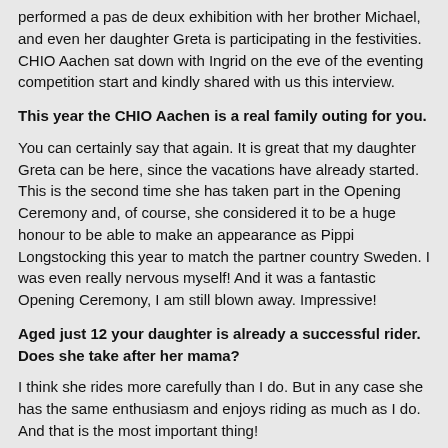performed a pas de deux exhibition with her brother Michael, and even her daughter Greta is participating in the festivities. CHIO Aachen sat down with Ingrid on the eve of the eventing competition start and kindly shared with us this interview.
This year the CHIO Aachen is a real family outing for you.
You can certainly say that again. It is great that my daughter Greta can be here, since the vacations have already started. This is the second time she has taken part in the Opening Ceremony and, of course, she considered it to be a huge honour to be able to make an appearance as Pippi Longstocking this year to match the partner country Sweden. I was even really nervous myself! And it was a fantastic Opening Ceremony, I am still blown away. Impressive!
Aged just 12 your daughter is already a successful rider. Does she take after her mama?
I think she rides more carefully than I do. But in any case she has the same enthusiasm and enjoys riding as much as I do. And that is the most important thing!